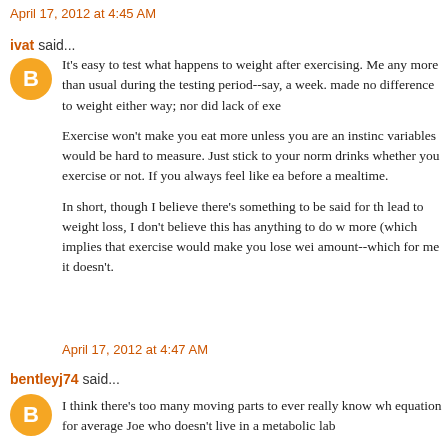April 17, 2012 at 4:45 AM
ivat said...
It's easy to test what happens to weight after exercising. Me any more than usual during the testing period--say, a week. made no difference to weight either way; nor did lack of exe
Exercise won't make you eat more unless you are an instinc variables would be hard to measure. Just stick to your norm drinks whether you exercise or not. If you always feel like ea before a mealtime.
In short, though I believe there's something to be said for th lead to weight loss, I don't believe this has anything to do w more (which implies that exercise would make you lose wei amount--which for me it doesn't.
April 17, 2012 at 4:47 AM
bentleyj74 said...
I think there's too many moving parts to ever really know wh equation for average Joe who doesn't live in a metabolic lab